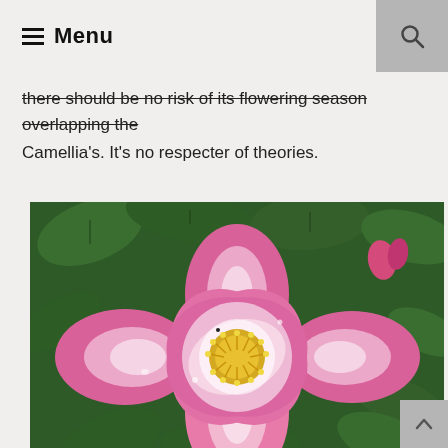Menu
there should be no risk of its flowering season overlapping the Camellia's. It's no respecter of theories.
[Figure (photo): Close-up photograph of a pink and white Camellia flower with yellow stamens, surrounded by dark green leaves. Other pink and orange buds visible in the background.]